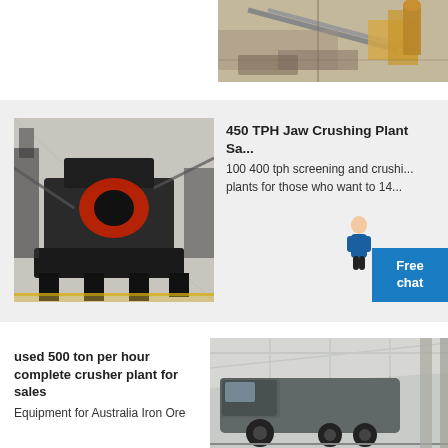[Figure (photo): Aerial/overhead view of industrial crushing plant equipment with conveyor belts and machinery]
[Figure (photo): Industrial jaw crushing plant machinery in a factory setting, dark heavy equipment]
450 TPH Jaw Crushing Plant Sa...
100 400 tph screening and crushi... plants for those who want to 14...
[Figure (photo): Large truck/vehicle inside a warehouse building with industrial equipment]
used 500 ton per hour complete crusher plant for sales
Equipment for Australia Iron Ore